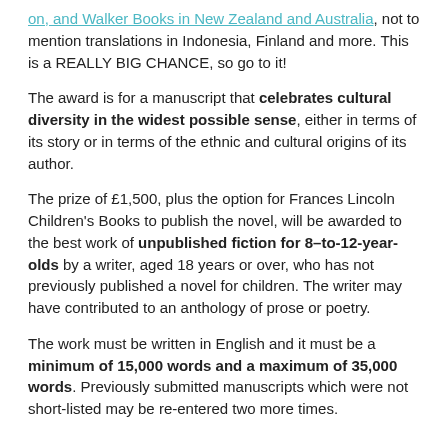on, and Walker Books in New Zealand and Australia, not to mention translations in Indonesia, Finland and more. This is a REALLY BIG CHANCE, so go to it!
The award is for a manuscript that celebrates cultural diversity in the widest possible sense, either in terms of its story or in terms of the ethnic and cultural origins of its author.
The prize of £1,500, plus the option for Frances Lincoln Children's Books to publish the novel, will be awarded to the best work of unpublished fiction for 8–to-12-year-olds by a writer, aged 18 years or over, who has not previously published a novel for children. The writer may have contributed to an anthology of prose or poetry.
The work must be written in English and it must be a minimum of 15,000 words and a maximum of 35,000 words. Previously submitted manuscripts which were not short-listed may be re-entered two more times.